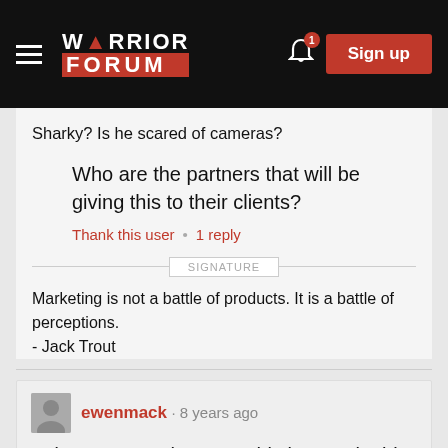Warrior Forum
Sharky? Is he scared of cameras?
Who are the partners that will be giving this to their clients?
Thank this user • 1 reply
SIGNATURE
Marketing is not a battle of products. It is a battle of perceptions.
- Jack Trout
ewenmack · 8 years ago
It doesn't pass the "wow this is so valuable I could go and do this in